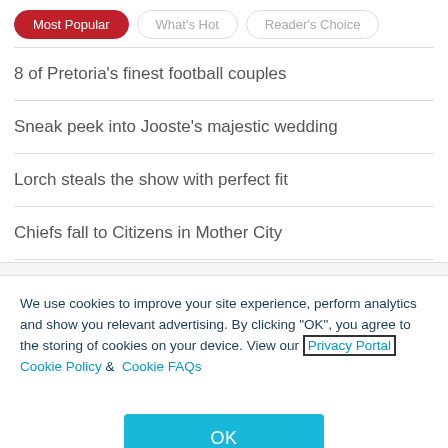Most Popular | What's Hot | Reader's Choice
8 of Pretoria's finest football couples
Sneak peek into Jooste's majestic wedding
Lorch steals the show with perfect fit
Chiefs fall to Citizens in Mother City
We use cookies to improve your site experience, perform analytics and show you relevant advertising. By clicking "OK", you agree to the storing of cookies on your device. View our Privacy Portal  Cookie Policy &  Cookie FAQs
OK